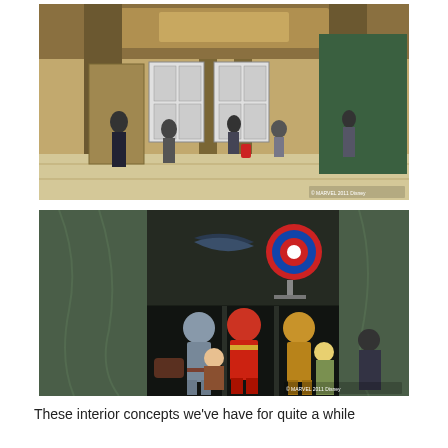[Figure (photo): Interior concept art of a grand hotel lobby with high ceilings, comic-book style framed panels on the walls, pillars, and many visitors walking through. Warm gold and grey tones with marble-like floors. A person with a red suitcase is visible in the center.]
[Figure (photo): Interior concept art showing Marvel superhero displays: Iron Man suits in illuminated cases, Captain America's shield, and a wing prop mounted on the wall. Visitors are seated and standing looking at the exhibits. Green marble columns visible.]
These interior concepts we've have for quite a while